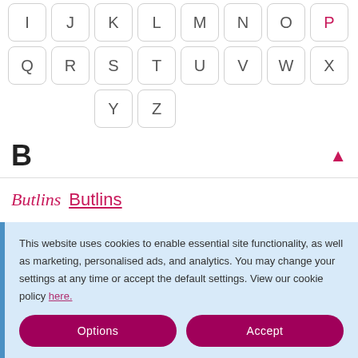[Figure (screenshot): Alphabet navigation grid showing letters I through Z in rounded square buttons, with P highlighted in pink/red. Second row: Q R S T U V W X. Third row (centered): Y Z.]
B
Butlins
This website uses cookies to enable essential site functionality, as well as marketing, personalised ads, and analytics. You may change your settings at any time or accept the default settings. View our cookie policy here.
Options
Accept